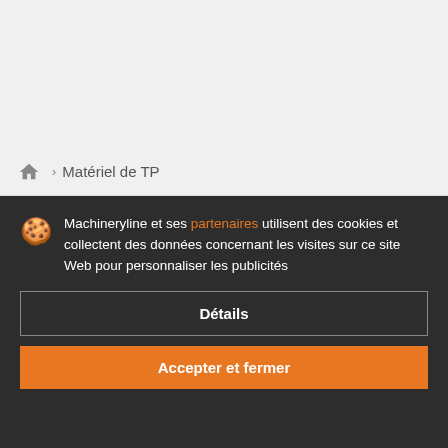Matériel de TP
Matériel de TP MUELLER
Machineryline et ses partenaires utilisent des cookies et collectent des données concernant les visites sur ce site Web pour personnaliser les publicités
Détails
Accepter et fermer
Matériel de TP MUELLER: 1 annonce